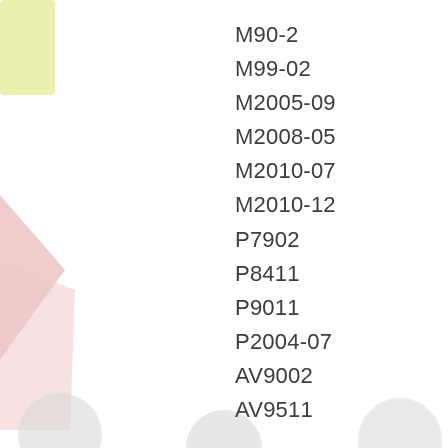M90-2
M99-02
M2005-09
M2008-05
M2010-07
M2010-12
P7902
P8411
P9011
P2004-07
AV9002
AV9511